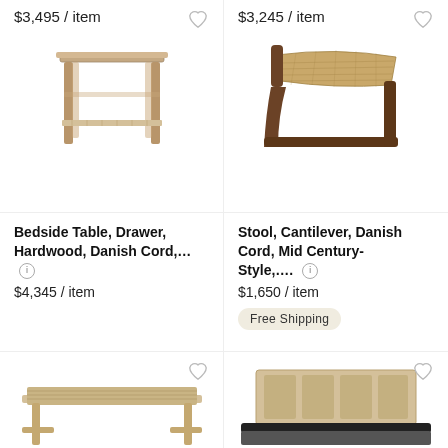$3,495 / item
$3,245 / item
[Figure (photo): Wooden bedside table with shelf and four legs, Scandinavian style]
[Figure (photo): Woven cord stool with dark wood cantilever frame, mid century style]
Bedside Table, Drawer, Hardwood, Danish Cord,…  $4,345 / item
Stool, Cantilever, Danish Cord, Mid Century-Style,…  $1,650 / item  Free Shipping
[Figure (photo): Light wood bench with woven seat, Scandinavian minimal design, partially cropped]
[Figure (photo): Wooden bed headboard with slatted panel design, partially cropped]